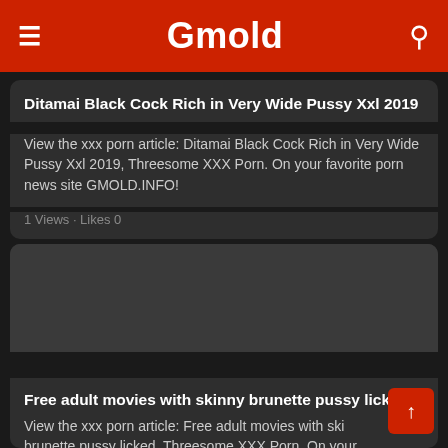Gmold
Ditamai Black Cock Rich in Very Wide Pussy Xxl 2019
View the xxx porn article: Ditamai Black Cock Rich in Very Wide Pussy Xxl 2019, Threesome XXX Porn. On your favorite porn news site GMOLD.INFO!
1 Views · Likes 0
[Figure (photo): Dark placeholder image for second article]
Free adult movies with skinny brunette pussy licked
View the xxx porn article: Free adult movies with skinny brunette pussy licked, Threesome XXX Porn. On your